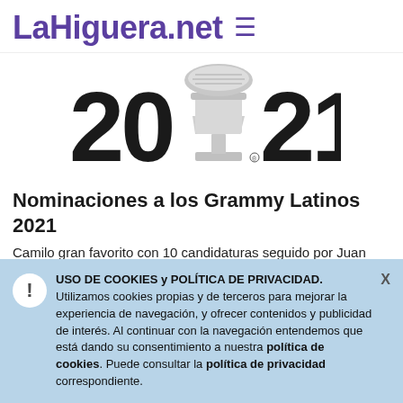LaHiguera.net  ≡
[Figure (logo): Grammy Latinos 2021 logo: bold black text '20' on left, Grammy trophy icon in center replacing the 'A', bold black '21' on right]
Nominaciones a los Grammy Latinos 2021
Camilo gran favorito con 10 candidaturas seguido por Juan Luis Guerra con 6 y C. Tangana con 5
Hugo Fernández
USO DE COOKIES y POLÍTICA DE PRIVACIDAD. Utilizamos cookies propias y de terceros para mejorar la experiencia de navegación, y ofrecer contenidos y publicidad de interés. Al continuar con la navegación entendemos que está dando su consentimiento a nuestra política de cookies. Puede consultar la política de privacidad correspondiente.